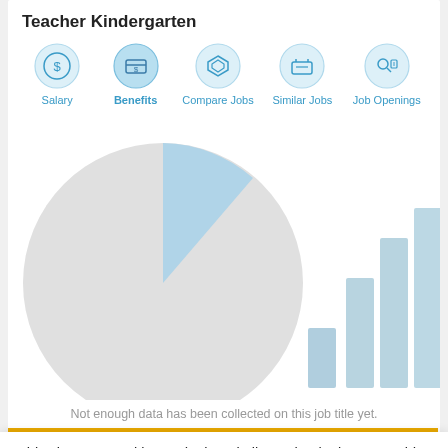Teacher Kindergarten
[Figure (infographic): Navigation icons row: Salary (dollar coin circle), Benefits (wallet circle), Compare Jobs (layers circle), Similar Jobs (briefcase circle), Job Openings (person with magnifier circle)]
[Figure (other): Partially visible pie chart on left and 4 light blue vertical bars on right, representing blurred/locked salary data. Message: Not enough data has been collected on this job title yet.]
Not enough data has been collected on this job title yet.
This site uses cookies and other similar technologies to provide site functionality, analyze traffic and usage, and deliver content tailored to your interests. | Learn More
I Accept